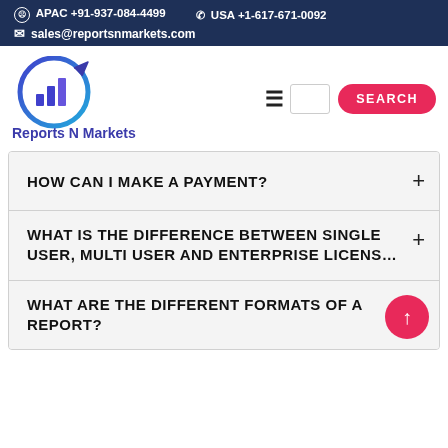APAC +91-937-084-4499   USA +1-617-671-0092   sales@reportsnmarkets.com
[Figure (logo): Reports N Markets logo — circular bar-chart icon with arrow, blue gradient ring]
Reports N Markets
HOW CAN I MAKE A PAYMENT?
WHAT IS THE DIFFERENCE BETWEEN SINGLE USER, MULTI USER AND ENTERPRISE LICENSE?
WHAT ARE THE DIFFERENT FORMATS OF A REPORT?